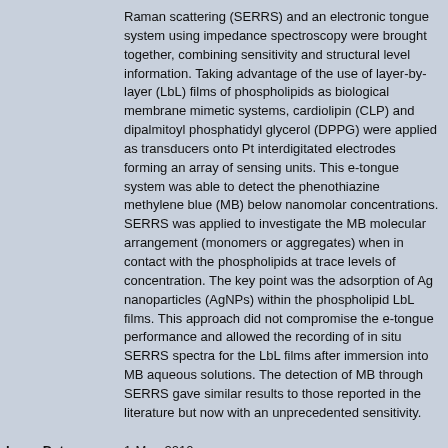Raman scattering (SERRS) and an electronic tongue system using impedance spectroscopy were brought together, combining sensitivity and structural level information. Taking advantage of the use of layer-by-layer (LbL) films of phospholipids as biological membrane mimetic systems, cardiolipin (CLP) and dipalmitoyl phosphatidyl glycerol (DPPG) were applied as transducers onto Pt interdigitated electrodes forming an array of sensing units. This e-tongue system was able to detect the phenothiazine methylene blue (MB) below nanomolar concentrations. SERRS was applied to investigate the MB molecular arrangement (monomers or aggregates) when in contact with the phospholipids at trace levels of concentration. The key point was the adsorption of Ag nanoparticles (AgNPs) within the phospholipid LbL films. This approach did not compromise the e-tongue performance and allowed the recording of in situ SERRS spectra for the LbL films after immersion into MB aqueous solutions. The detection of MB through SERRS gave similar results to those reported in the literature but now with an unprecedented sensitivity.
Issue Date: 1-May-2010
Citation: Analytical Chemistry, Washington: Amer Chemical Soc, v. 82, n. 9, p. 3537-3546, 2010.
Time Duration: 3537-3546